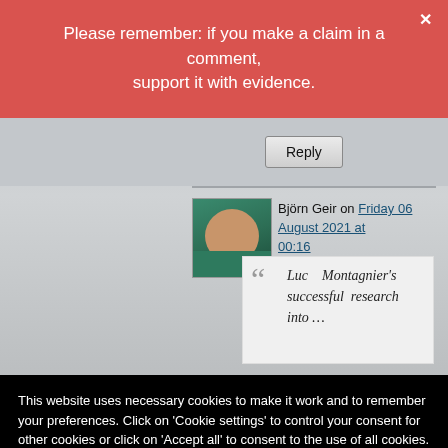Please remember: if you make a claim in a comment, support it with evidence.
[Figure (screenshot): Reply button in a comment section on a grey background]
Björn Geir on Friday 06 August 2021 at 00:16
Luc Montagnier's successful research into …
This website uses necessary cookies to make it work and to remember your preferences. Click on 'Cookie settings' to control your consent for other cookies or click on 'Accept all' to consent to the use of all cookies. By continuing to browse this website you are agreeing to our Privacy policy.